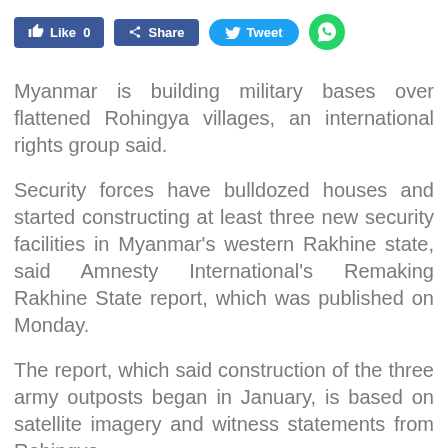[Figure (other): Social media share buttons: Facebook Like (0), Facebook Share, Twitter Tweet, WhatsApp icon]
Myanmar is building military bases over flattened Rohingya villages, an international rights group said.
Security forces have bulldozed houses and started constructing at least three new security facilities in Myanmar's western Rakhine state, said Amnesty International's Remaking Rakhine State report, which was published on Monday.
The report, which said construction of the three army outposts began in January, is based on satellite imagery and witness statements from Rohingyo